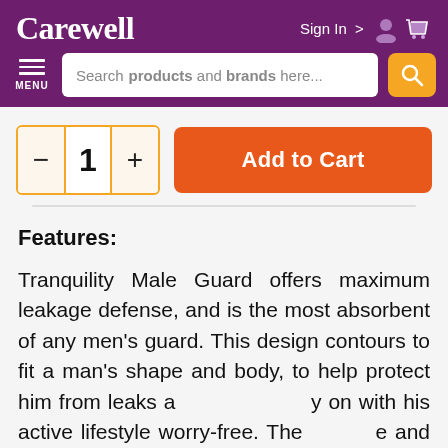Carewell
Search products and brands here...
- 1 + Add to Cart
Features:
Tranquility Male Guard offers maximum leakage defense, and is the most absorbent of any men's guard. This design contours to fit a man's shape and body, to help protect him from leaks and carry on with his active lifestyle worry-free. The shape and body-conforming design forms a cup-shape to